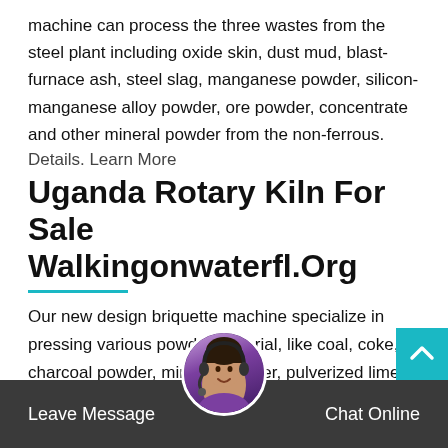machine can process the three wastes from the steel plant including oxide skin, dust mud, blast-furnace ash, steel slag, manganese powder, silicon-manganese alloy powder, ore powder, concentrate and other mineral powder from the non-ferrous.
Details. Learn More
Uganda Rotary Kiln For Sale Walkingonwaterfl.Org
Our new design briquette machine specialize in pressing various powder material, like coal, coke, charcoal powder, mineral powder, pulverized lime, pulverized chrome, aluminum oxide, magnesium bauxite, etc. Due to the double roller forced squeezing. The output briquette have the features of high density, high strength, high hardness. Roller
Leave Message
Chat Online